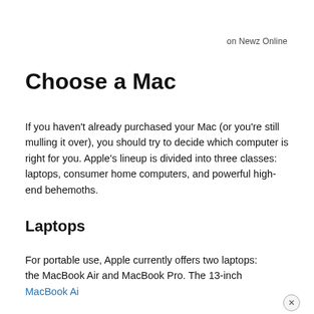on Newz Online
Choose a Mac
If you haven't already purchased your Mac (or you're still mulling it over), you should try to decide which computer is right for you. Apple's lineup is divided into three classes: laptops, consumer home computers, and powerful high-end behemoths.
Laptops
For portable use, Apple currently offers two laptops: the MacBook Air and MacBook Pro. The 13-inch MacBook Ai